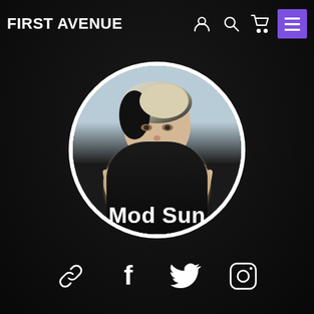FIRST AVENUE
[Figure (photo): Circular profile photo of Mod Sun, a musician with light/dark two-tone hair and black jacket, hands raised toward camera with rings visible, outdoor rooftop-style background]
Mod Sun
[Figure (infographic): Social media icon bar with four icons: chain link (website), Facebook f, Twitter bird, Instagram camera]